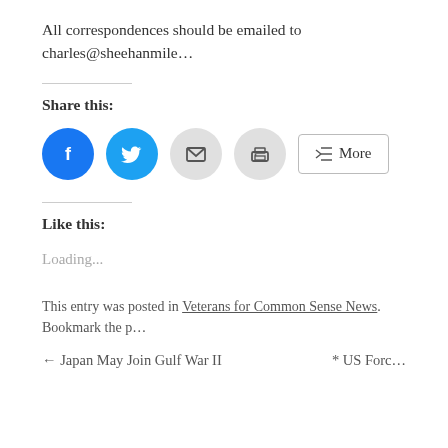All correspondences should be emailed to charles@sheehanmile…
Share this:
[Figure (infographic): Social share buttons: Facebook (blue circle), Twitter (blue circle), Email (grey circle), Print (grey circle), and a More button]
Like this:
Loading...
This entry was posted in Veterans for Common Sense News. Bookmark the p…
← Japan May Join Gulf War II     * US Forc…